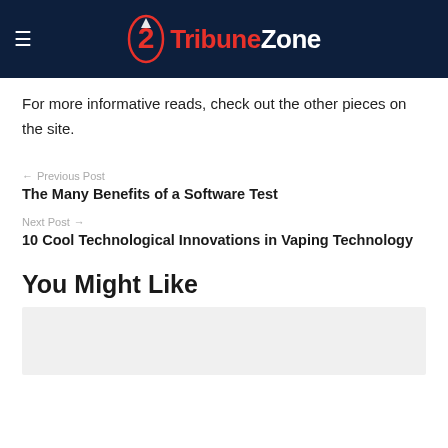TribuneZone
For more informative reads, check out the other pieces on the site.
← Previous Post
The Many Benefits of a Software Test
Next Post →
10 Cool Technological Innovations in Vaping Technology
You Might Like
[Figure (photo): Thumbnail placeholder image for a related article]